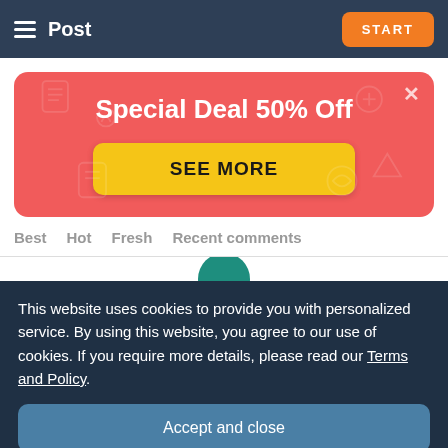Post | START
[Figure (illustration): Red promotional banner with 'Special Deal 50% Off' heading and a yellow 'SEE MORE' button, with faint icon patterns in background and an X close button]
Best   Hot   Fresh   Recent comments
This website uses cookies to provide you with personalized service. By using this website, you agree to our use of cookies. If you require more details, please read our Terms and Policy.
Accept and close